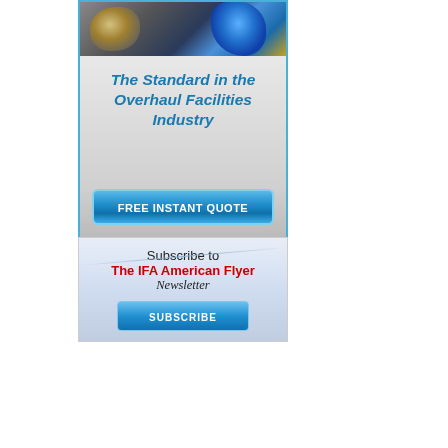[Figure (illustration): Advertisement banner: top section shows a photo of aircraft engine parts (mechanical components with blue highlights). Middle section on gray gradient background reads 'The Standard in the Overhaul Facilities Industry' in blue italic text. Bottom section has a blue button labeled 'FREE INSTANT QUOTE'. The whole ad is bordered in blue.]
[Figure (illustration): Subscription banner with light blue gradient background. Text reads 'Subscribe to' in black, 'The IFA American Flyer' in red bold, 'Newsletter' in black italic. Below is a blue 'SUBSCRIBE' button.]